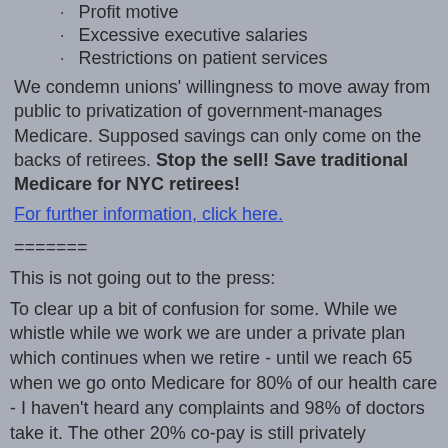Profit motive
Excessive executive salaries
Restrictions on patient services
We condemn unions' willingness to move away from public to privatization of government-manages Medicare. Supposed savings can only come on the backs of retirees. Stop the sell! Save traditional Medicare for NYC retirees!
For further information, click here.
=======
This is not going out to the press:
To clear up a bit of confusion for some. While we whistle while we work we are under a private plan which continues when we retire - until we reach 65 when we go onto Medicare for 80% of our health care - I haven't heard any complaints and 98% of doctors take it. The other 20% co-pay is still privately managed.
Before reaching 65 we generally had a choice of GHI where we have more freedom to choose our doctors and a more